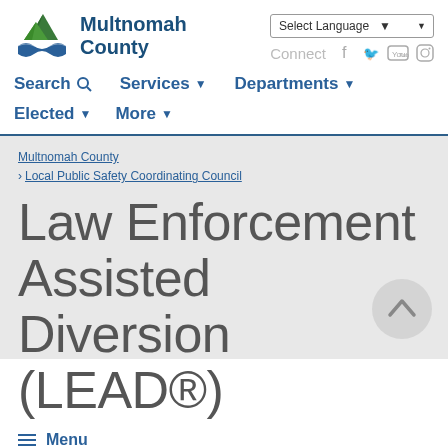[Figure (logo): Multnomah County logo with mountain and wave graphic in green and blue]
Multnomah County
Select Language | Connect
Search | Services | Departments
Elected | More
Multnomah County > Local Public Safety Coordinating Council
Law Enforcement Assisted Diversion (LEAD®)
≡ Menu